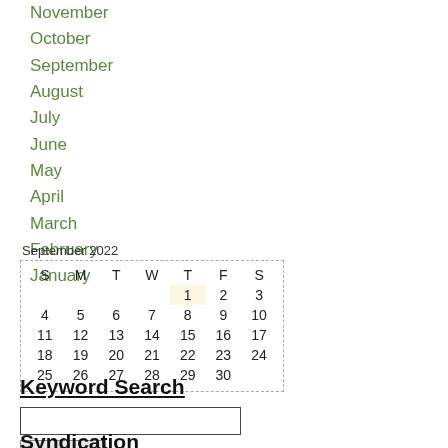November
October
September
August
July
June
May
April
March
February
January
| S | M | T | W | T | F | S |
| --- | --- | --- | --- | --- | --- | --- |
|  |  |  |  | 1 | 2 | 3 |
| 4 | 5 | 6 | 7 | 8 | 9 | 10 |
| 11 | 12 | 13 | 14 | 15 | 16 | 17 |
| 18 | 19 | 20 | 21 | 22 | 23 | 24 |
| 25 | 26 | 27 | 28 | 29 | 30 |  |
Keyword Search
Syndication